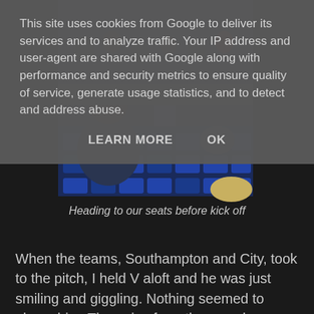This site uses cookies from Google to deliver its services and to analyze traffic. Your IP address and user-agent are shared with Google along with performance and security metrics to ensure quality of service, generate usage statistics, and to detect and address abuse.
LEARN MORE   OK
[Figure (photo): People walking to their seats in a stadium/arena with blue chairs, viewed from behind]
Heading to our seats before kick off
When the teams, Southampton and City, took to the pitch, I held V aloft and he was just smiling and giggling. Nothing seemed to phase him. The noise from the crowd was considerable, but he took it all in his stride, wide-eyed at the events unfolding around him. He was actually enjoying it; he